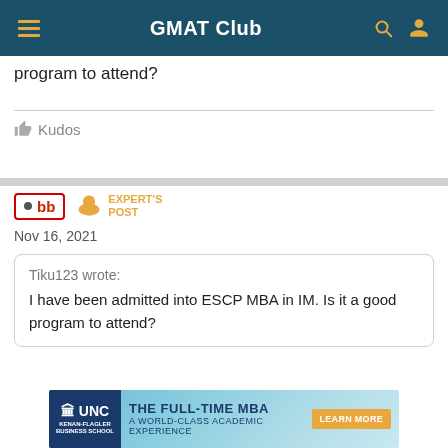GMAT Club
program to attend?
👍 Kudos
bb · EXPERT'S POST · Nov 16, 2021
Tiku123 wrote: I have been admitted into ESCP MBA in IM. Is it a good program to attend?
[Figure (screenshot): UNC Kenan-Flagler Business School advertisement banner: THE FULL-TIME MBA A WORLD-CLASS ACADEMIC EXPERIENCE LEARN MORE]